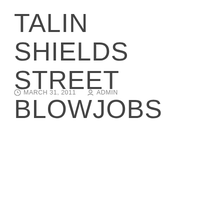TALIN SHIELDS STREET BLOWJOBS
MARCH 31, 2011   ADMIN